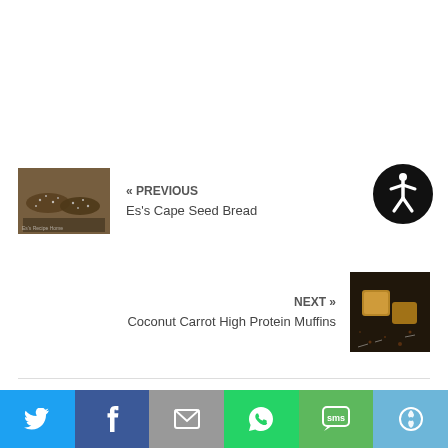[Figure (photo): Photo of seeded bread loaves on a cooling rack]
« PREVIOUS
Es's Cape Seed Bread
[Figure (illustration): Accessibility icon - person in circle]
NEXT »
Coconut Carrot High Protein Muffins
[Figure (photo): Photo of coconut carrot protein muffins with spices]
[Figure (other): Social sharing bar with Twitter, Facebook, Email, WhatsApp, SMS, and More buttons]